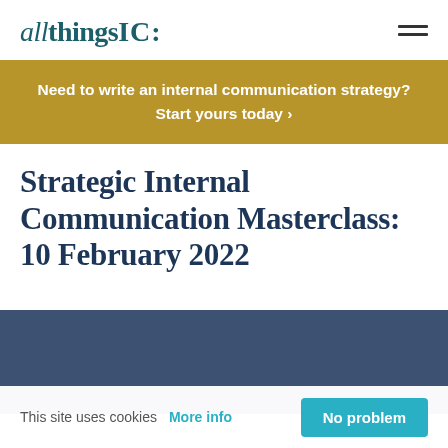allthingsIC:
Need to write an internal communication strategy? Start yours today >
Strategic Internal Communication Masterclass: 10 February 2022
[Figure (photo): Dark blue/slate colored image area, partially visible]
This site uses cookies  More info  No problem